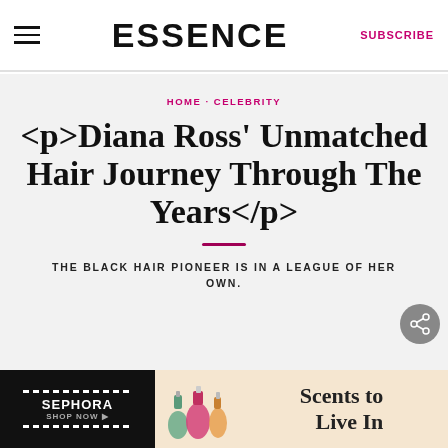ESSENCE | SUBSCRIBE
HOME · CELEBRITY
<p>Diana Ross' Unmatched Hair Journey Through The Years</p>
THE BLACK HAIR PIONEER IS IN A LEAGUE OF HER OWN.
[Figure (screenshot): Sephora advertisement banner: black left panel with SEPHORA SHOP NOW text and striped border detail, right panel with cream/tan background showing perfume bottles and text 'Scents to Live In']